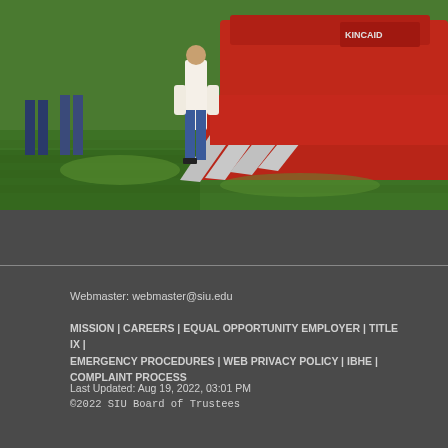[Figure (photo): Outdoor photo showing a person in jeans standing near large red agricultural machinery (Kincaid harvester/header) on green grass]
Webmaster: webmaster@siu.edu
MISSION | CAREERS | EQUAL OPPORTUNITY EMPLOYER | TITLE IX | EMERGENCY PROCEDURES | WEB PRIVACY POLICY | IBHE | COMPLAINT PROCESS
Last Updated: Aug 19, 2022, 03:01 PM
©2022 SIU Board of Trustees